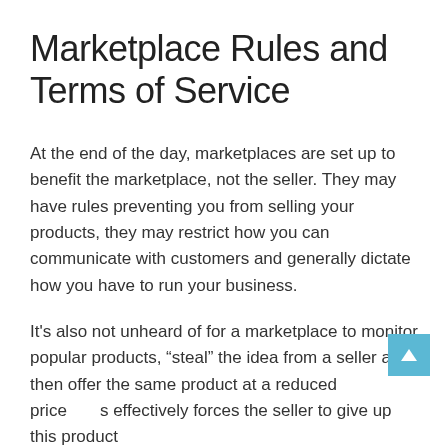Marketplace Rules and Terms of Service
At the end of the day, marketplaces are set up to benefit the marketplace, not the seller. They may have rules preventing you from selling your products, they may restrict how you can communicate with customers and generally dictate how you have to run your business.
It's also not unheard of for a marketplace to monitor popular products, “steal” the idea from a seller and then offer the same product at a reduced price s effectively forces the seller to give up this product